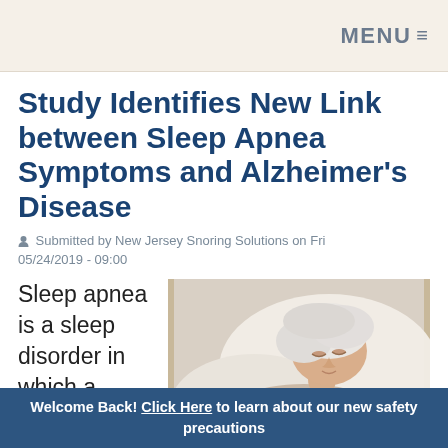MENU≡
Study Identifies New Link between Sleep Apnea Symptoms and Alzheimer's Disease
Submitted by New Jersey Snoring Solutions on Fri 05/24/2019 - 09:00
Sleep apnea is a sleep disorder in which a
[Figure (photo): Elderly woman sleeping peacefully in bed, lying on white pillows and wearing a light pink top]
Welcome Back! Click Here to learn about our new safety precautions